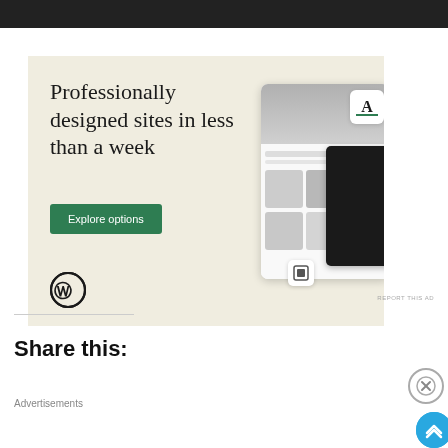[Figure (screenshot): WordPress advertisement banner with cream/beige background. Text reads 'Professionally designed sites in less than a week' with a green 'Explore options' button and WordPress logo. Right side shows mock website design screens.]
REPORT THIS AD
Share this:
Advertisements
[Figure (screenshot): Seamless food delivery advertisement on dark background with pizza image, red Seamless logo badge, and 'ORDER NOW' text in white bordered box.]